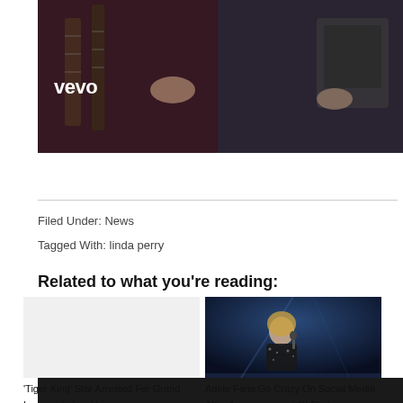[Figure (photo): Vevo music video screenshot showing guitar players with Vevo logo overlay and black bar at bottom]
Filed Under: News
Tagged With: linda perry
Related to what you're reading:
[Figure (photo): Light gray placeholder image for Tiger King article]
'Tiger King' Star Arrested For Grand Larceny In Las Vegas
[Figure (photo): Photo of Adele performing on stage with microphone, wearing sparkly outfit, dark blue stage lighting]
Adele Fans Go Crazy On Social Media After Announcement Of First...